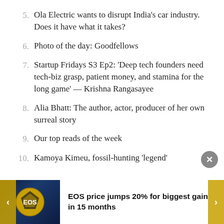5. Ola Electric wants to disrupt India's car industry. Does it have what it takes?
6. Photo of the day: Goodfellows
7. Startup Fridays S3 Ep2: 'Deep tech founders need tech-biz grasp, patient money, and stamina for the long game' — Krishna Rangasayee
8. Alia Bhatt: The author, actor, producer of her own surreal story
9. Our top reads of the week
10. Kamoya Kimeu, fossil-hunting 'legend'
EOS price jumps 20% for biggest gain in 15 months